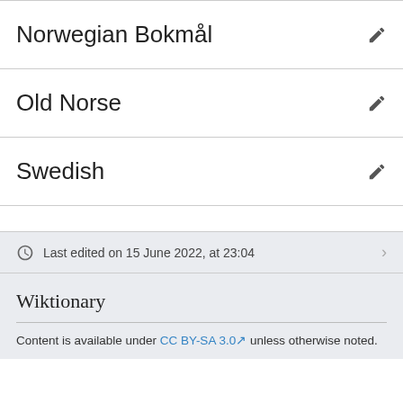Norwegian Bokmål
Old Norse
Swedish
Last edited on 15 June 2022, at 23:04
Wiktionary
Content is available under CC BY-SA 3.0 unless otherwise noted.